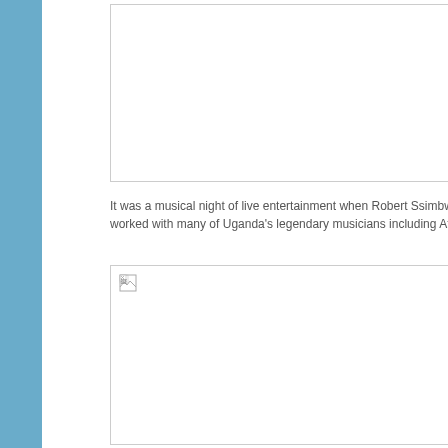[Figure (photo): Top image placeholder with broken image icon, white background with border]
It was a musical night of live entertainment when Robert Ssimbwa a ta worked with many of Uganda's legendary musicians including Afrigo B
[Figure (photo): Bottom image placeholder with broken image icon, white background with border]